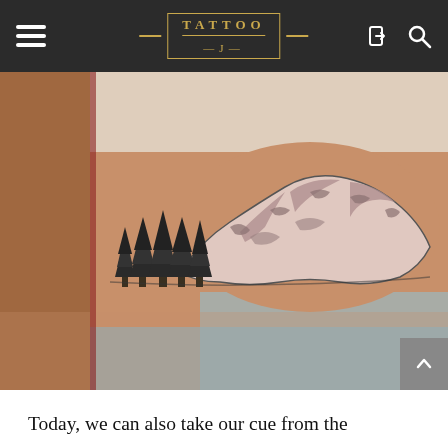TATTOO J — navigation bar with hamburger menu, logo, login and search icons
[Figure (photo): A photograph of a person's forearm/bicep area featuring a black and grey tattoo of mountains with pine trees in the foreground, surrounded by skin and background objects.]
Today, we can also take our cue from the